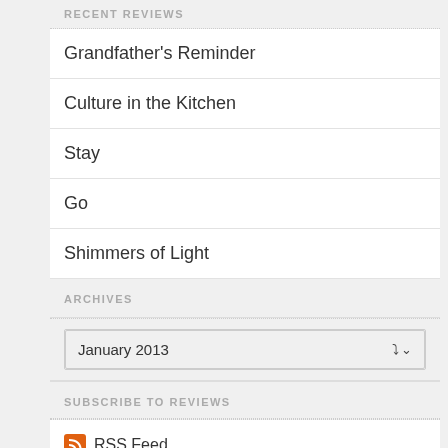RECENT REVIEWS
Grandfather's Reminder
Culture in the Kitchen
Stay
Go
Shimmers of Light
ARCHIVES
January 2013
SUBSCRIBE TO REVIEWS
RSS Feed